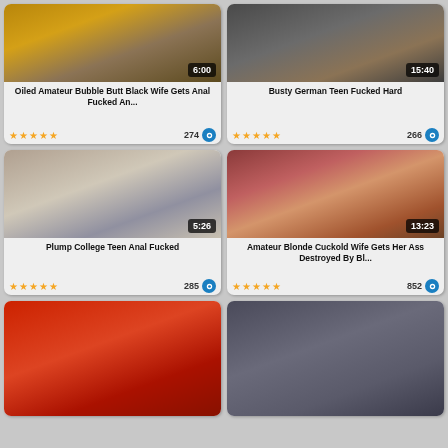[Figure (screenshot): Video thumbnail - oiled skin close-up, yellow/brown tones, duration 6:00]
Oiled Amateur Bubble Butt Black Wife Gets Anal Fucked An...
★★★★★ 274 views
[Figure (screenshot): Video thumbnail - dark room indoor scene, duration 15:40]
Busty German Teen Fucked Hard
★★★★★ 266 views
[Figure (screenshot): Video thumbnail - white couch close-up scene, duration 5:26]
Plump College Teen Anal Fucked
★★★★★ 285 views
[Figure (screenshot): Video thumbnail - hotel room scene, duration 13:23]
Amateur Blonde Cuckold Wife Gets Her Ass Destroyed By Bl...
★★★★★ 852 views
[Figure (screenshot): Video thumbnail - red background intimate scene, partially visible]
[Figure (screenshot): Video thumbnail - dark room scene, partially visible]